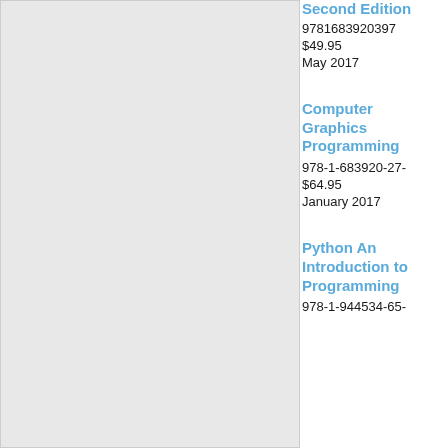[Figure (other): Gray book cover image placeholder in left column]
Second Edition
9781683920397
$49.95
May 2017
Computer Graphics Programming
978-1-683920-27-
$64.95
January 2017
Python An Introduction to Programming
978-1-944534-65-